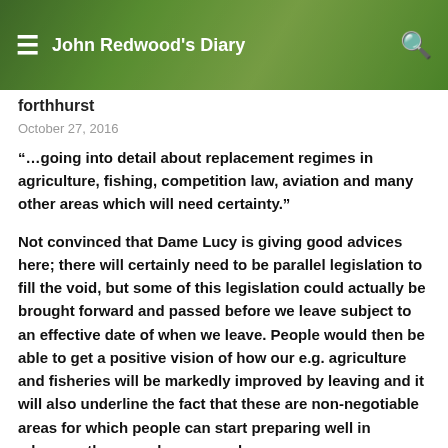John Redwood's Diary
forthhurst
October 27, 2016
“…going into detail about replacement regimes in agriculture, fishing, competition law, aviation and many other areas which will need certainty.”
Not convinced that Dame Lucy is giving good advices here; there will certainly need to be parallel legislation to fill the void, but some of this legislation could actually be brought forward and passed before we leave subject to an effective date of when we leave. People would then be able to get a positive vision of how our e.g. agriculture and fisheries will be markedly improved by leaving and it will also underline the fact that these are non-negotiable areas for which people can start preparing well in advance; they are also areas where any